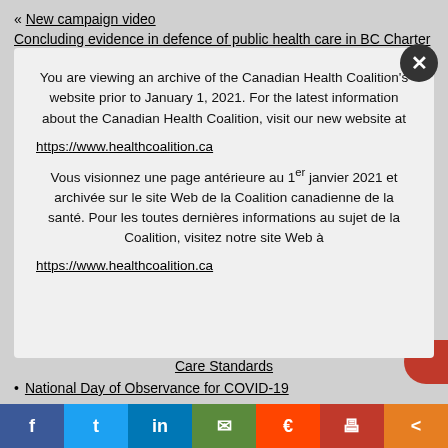« New campaign video
Concluding evidence in defence of public health care in BC Charter challenge »
You are viewing an archive of the Canadian Health Coalition's website prior to January 1, 2021. For the latest information about the Canadian Health Coalition, visit our new website at https://www.healthcoalition.ca
Vous visionnez une page antérieure au 1er janvier 2021 et archivée sur le site Web de la Coalition canadienne de la santé. Pour les toutes dernières informations au sujet de la Coalition, visitez notre site Web à https://www.healthcoalition.ca
Care Standards
National Day of Observance for COVID-19